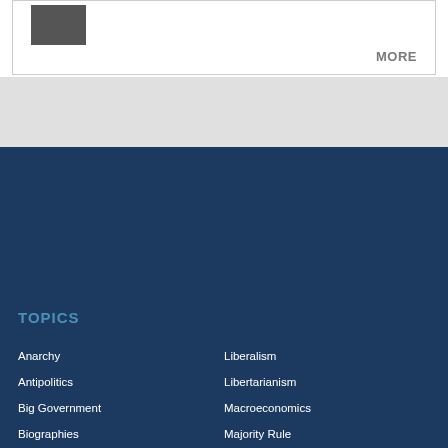MORE
TOPICS
Anarchy
Antipolitics
Big Government
Biographies
Bitcoin
Book Reviews
Booms and Busts
Bureaucracy and Regulation
Capitalism
Central Banks
Liberalism
Libertarianism
Macroeconomics
Majority Rule
Media and Culture
Minarchy
Monetary Policy
Money and Banks
Old Right
Paternalism